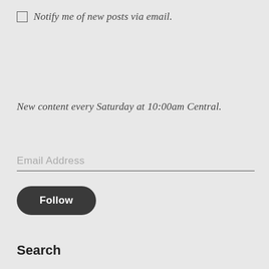Notify me of new posts via email.
New content every Saturday at 10:00am Central.
Email Address
Follow
Search